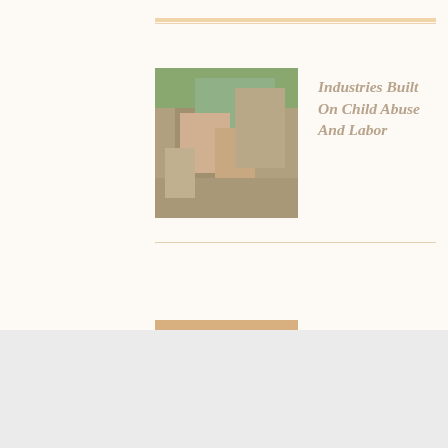[Figure (photo): Photo of a child, possibly in a field or outdoor setting with foliage in the background]
Industries Built On Child Abuse And Labor
[Figure (photo): Photo of women and children, possibly in colorful traditional dress]
The 5 Worst Countries For Women And Children In 2020